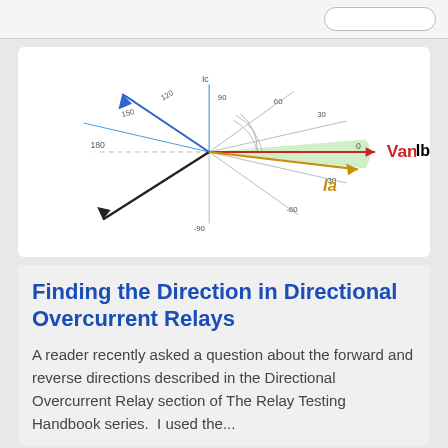[Figure (engineering-diagram): Phasor diagram showing angles 180, 150, 120, 90, 60, 30, 0, -30, -60, -90 on a polar/protractor-style plot. A red arrow labeled 'Van' points to the right (0 degrees). A gold/brown arrow labeled 'Ia' points into a green shaded region (slightly below 0 degrees). A blue arrow points upward-left (around 120 degrees). A gray/black arrow labeled 'Ib' points downward-left. A green shaded wedge region is shown between approximately -30 and 0 degrees.]
Finding the Direction in Directional Overcurrent Relays
A reader recently asked a question about the forward and reverse directions described in the Directional Overcurrent Relay section of The Relay Testing Handbook series.  I used the...